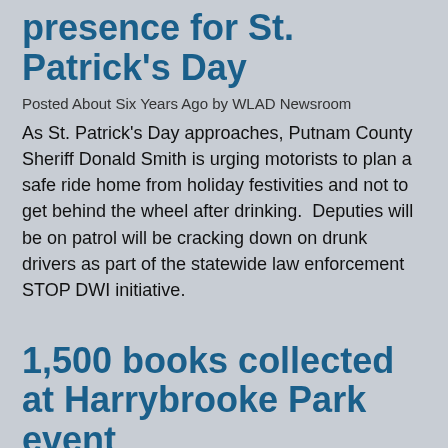presence for St. Patrick's Day
Posted About Six Years Ago by WLAD Newsroom
As St. Patrick's Day approaches, Putnam County Sheriff Donald Smith is urging motorists to plan a safe ride home from holiday festivities and not to get behind the wheel after drinking.  Deputies will be on patrol will be cracking down on drunk drivers as part of the statewide law enforcement STOP DWI initiative.
1,500 books collected at Harrybrooke Park event
Posted About Six Years Ago by WLAD Newsroom
A book drive has been held by a freshman state lawmaker from New Milford.  Representative Bill Buckbee teamed up with Representative Stephanie Cummings for the “Share a Book at Harrybrooke”